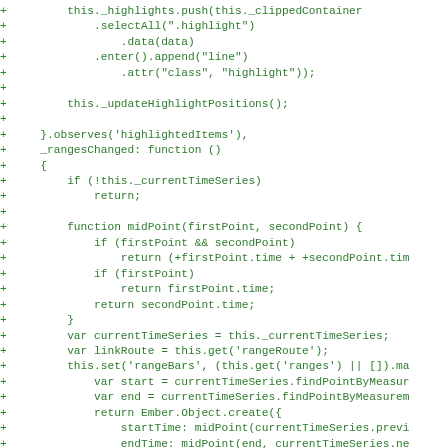[Figure (screenshot): Code diff screenshot showing JavaScript code in green on white background, with '+' markers on each line indicating added lines in a diff view.]